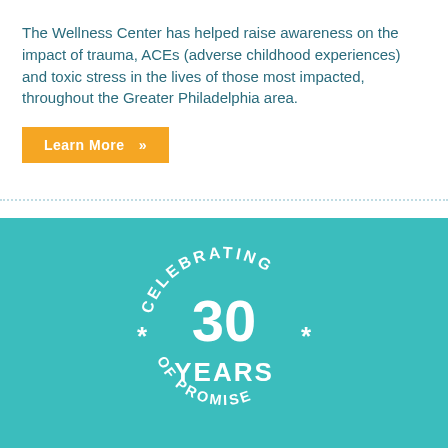The Wellness Center has helped raise awareness on the impact of trauma, ACEs (adverse childhood experiences) and toxic stress in the lives of those most impacted, throughout the Greater Philadelphia area.
[Figure (other): Orange button with white text 'Learn More' and chevron arrows]
[Figure (logo): Circular badge on teal background reading 'CELEBRATING 30 YEARS OF PROMISE' with asterisk decorations, white text on teal]